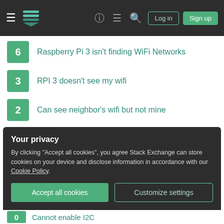Stack Exchange navigation header with hamburger menu, logo, help, chat, search icons, Log in and Sign up buttons
6 — Raspberry Pi 3 isn't finding WiFi Networks
3 — RPI 3 doesn't see my wifi
2 — Can see neighbor's wifi but not mine
1 — Windows 10 IoT Wifi not found
Related
1 — Packet sniffing with channel hopping using scapy
0 — How do I discover and control what channel my WiFi adaptor is
Your privacy
By clicking "Accept all cookies", you agree Stack Exchange can store cookies on your device and disclose information in accordance with our Cookie Policy.
Accept all cookies   Customize settings
0 — Cannot enable I2C